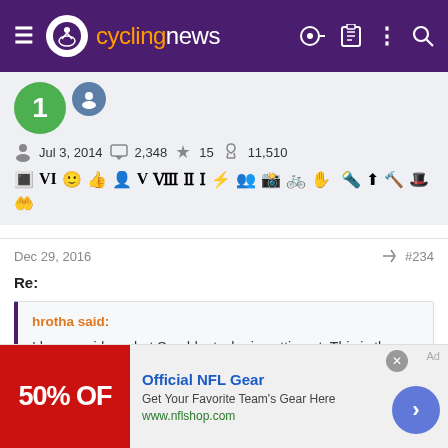cyclingnews
Jul 3, 2014  2,348  15  11,510
[Figure (other): User badges/achievement icons row]
Dec 29, 2016  #234
Re:
hrotha said:
I have no idea what Sueddeutsche is getting at. This is the document:
[Figure (other): Advertisement banner: Official NFL Gear, 50% OFF, www.nflshop.com]